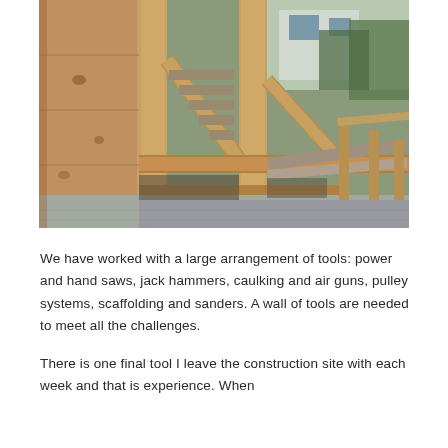[Figure (photo): Construction site photograph showing wooden framing, structural lumber posts and beams of a building under construction, with plywood sheathing visible on the left, concrete foundation below, and trees and a house visible in the background.]
We have worked with a large arrangement of tools: power and hand saws, jack hammers, caulking and air guns, pulley systems, scaffolding and sanders. A wall of tools are needed to meet all the challenges.
There is one final tool I leave the construction site with each week and that is experience. When